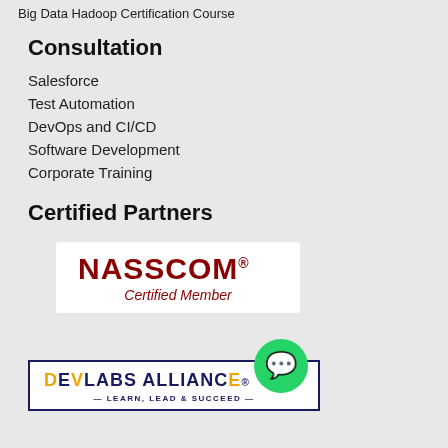Big Data Hadoop Certification Course
Consultation
Salesforce
Test Automation
DevOps and CI/CD
Software Development
Corporate Training
Certified Partners
[Figure (logo): NASSCOM Certified Member logo with red bold text and white background]
[Figure (logo): Devlabs Alliance logo with yellow and dark blue text, tagline LEARN, LEAD & SUCCEED, and WhatsApp button]